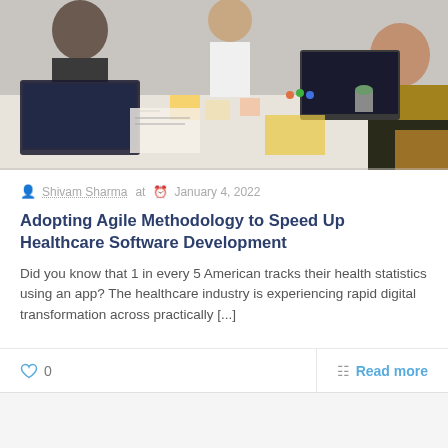[Figure (photo): Office/team meeting scene with people sitting around a white table with laptops, papers, and office supplies. Several people visible including someone writing and someone in a yellow-black hoodie on the right.]
Shivam Sharma at  January 4, 2022
Adopting Agile Methodology to Speed Up Healthcare Software Development
Did you know that 1 in every 5 American tracks their health statistics using an app? The healthcare industry is experiencing rapid digital transformation across practically [...]
0
Read more